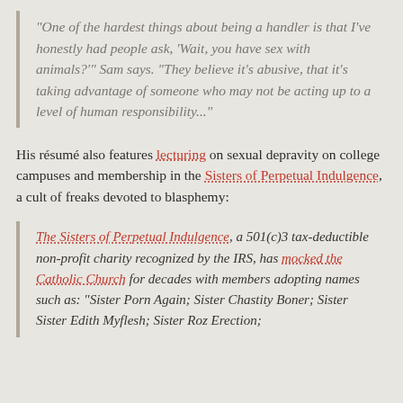“One of the hardest things about being a handler is that I’ve honestly had people ask, ‘Wait, you have sex with animals?’” Sam says. “They believe it’s abusive, that it’s taking advantage of someone who may not be acting up to a level of human responsibility...”
His résumé also features lecturing on sexual depravity on college campuses and membership in the Sisters of Perpetual Indulgence, a cult of freaks devoted to blasphemy:
The Sisters of Perpetual Indulgence, a 501(c)3 tax-deductible non-profit charity recognized by the IRS, has mocked the Catholic Church for decades with members adopting names such as: “Sister Porn Again; Sister Chastity Boner; Sister Sister Edith Myflesh; Sister Roz Erection;